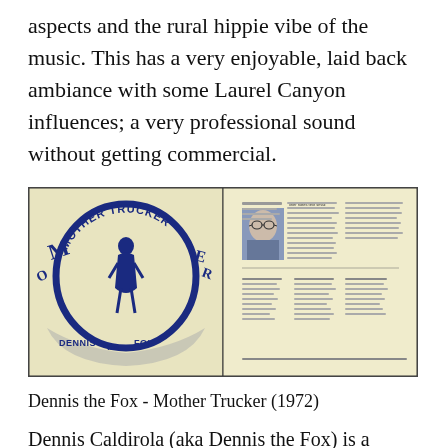aspects and the rural hippie vibe of the music. This has a very enjoyable, laid back ambiance with some Laurel Canyon influences; a very professional sound without getting commercial.
[Figure (photo): Album cover and back cover of 'Mother Trucker' by Dennis the Fox (1972). Front cover shows blue and cream art nouveau-style lettering with a figure of a woman. Back cover shows liner notes and a small portrait photo.]
Dennis the Fox - Mother Trucker (1972)
Dennis Caldirola (aka Dennis the Fox) is a crooner.